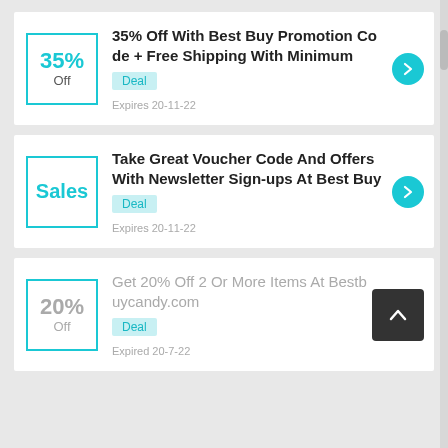35% Off With Best Buy Promotion Code + Free Shipping With Minimum
Deal
Expires 20-11-22
Take Great Voucher Code And Offers With Newsletter Sign-ups At Best Buy
Deal
Expires 20-11-22
Get 20% Off 2 Or More Items At Bestbuycandy.com
Deal
Expired 20-7-22